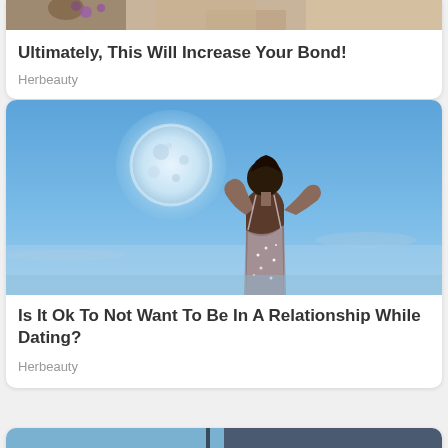[Figure (photo): Partially cropped photo at top of page showing flowers/decorative items]
Ultimately, This Will Increase Your Bond!
Herbeauty
[Figure (photo): Woman in sparkly dress seen from behind, looking up at a full moon against a blue sky]
Is It Ok To Not Want To Be In A Relationship While Dating?
Herbeauty
[Figure (photo): Partially visible image at bottom of page showing outdoor/interior scene]